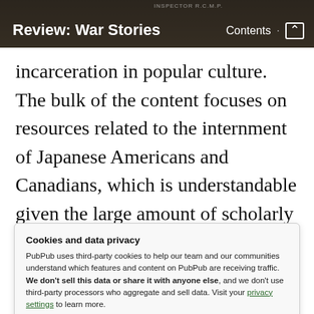Review: War Stories | Contents
incarceration in popular culture. The bulk of the content focuses on resources related to the internment of Japanese Americans and Canadians, which is understandable given the large amount of scholarly and popular work on their incarceration. The classroom section appears to still be under
Cookies and data privacy
PubPub uses third-party cookies to help our team and our communities understand which features and content on PubPub are receiving traffic. We don't sell this data or share it with anyone else, and we don't use third-party processors who aggregate and sell data. Visit your privacy settings to learn more.
Accept | Disable
...the classroom section continued...